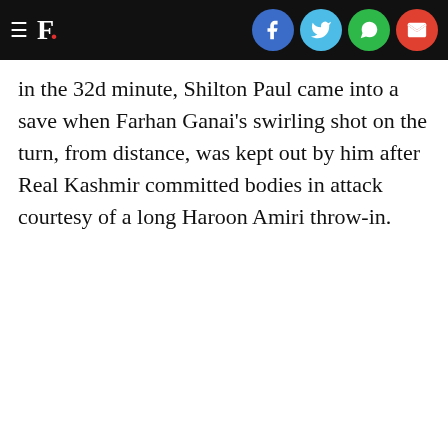F. [social share icons: Facebook, Twitter, WhatsApp, Email]
in the 32d minute, Shilton Paul came into a save when Farhan Ganai's swirling shot on the turn, from distance, was kept out by him after Real Kashmir committed bodies in attack courtesy of a long Haroon Amiri throw-in.